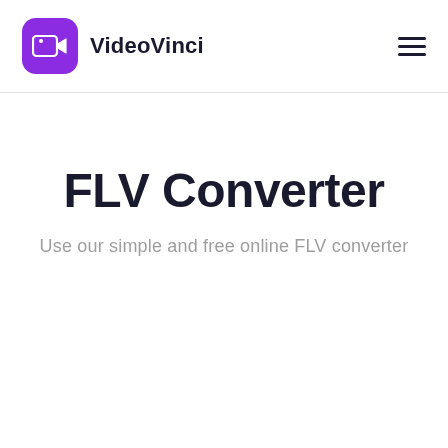VideoVinci
FLV Converter
Use our simple and free online FLV converter